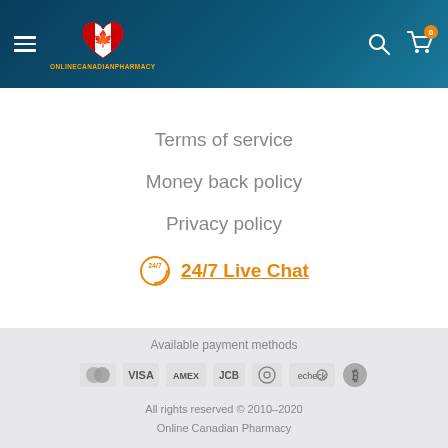Online Canadian Pharmacy — site header with hamburger menu, logo, search and cart icons
Terms of service
Money back policy
Privacy policy
24/7 Live Chat
Available payment methods
[Figure (infographic): Payment method icons: Mastercard, VISA, AMEX, JCB, Diners Club, echeck, Bitcoin]
All rights reserved © 2010–2020
Online Canadian Pharmacy